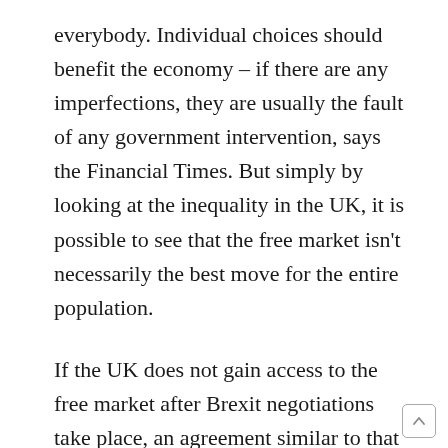everybody. Individual choices should benefit the economy – if there are any imperfections, they are usually the fault of any government intervention, says the Financial Times. But simply by looking at the inequality in the UK, it is possible to see that the free market isn't necessarily the best move for the entire population.
If the UK does not gain access to the free market after Brexit negotiations take place, an agreement similar to that of the World Trade Organisation will be implemented. Though of course, it may still be possible for the UK to access the free market. The UK must provide free movement and to continue paying into the EU in